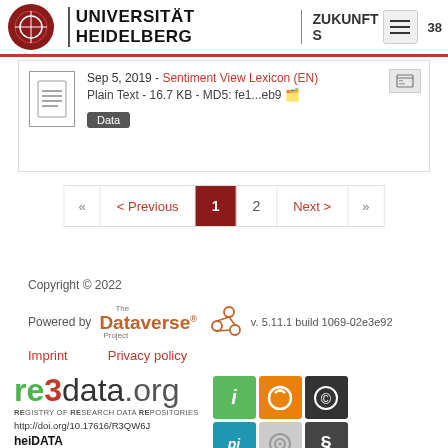UNIVERSITÄT HEIDELBERG | ZUKUNFT S 38
Sep 5, 2019 - Sentiment View Lexicon (EN)
Plain Text - 16.7 KB - MD5: fe1...eb9
Data
« < Previous 1 2 Next > »
Copyright © 2022
Powered by The Dataverse Project v. 5.11.1 build 1069-02e3e92
Imprint    Privacy policy
[Figure (logo): re3data.org logo with REGISTRY OF RESEARCH DATA REPOSITORIES text, URL http://doi.org/10.17616/R3QW6J, and heiDATA text, alongside a 2x3 grid of colored badge icons]
heiDATA